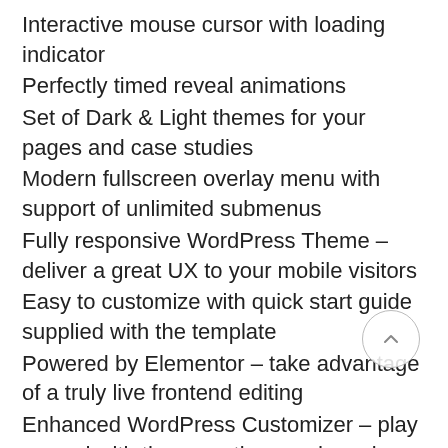Interactive mouse cursor with loading indicator
Perfectly timed reveal animations
Set of Dark & Light themes for your pages and case studies
Modern fullscreen overlay menu with support of unlimited submenus
Fully responsive WordPress Theme – deliver a great UX to your mobile visitors
Easy to customize with quick start guide supplied with the template
Powered by Elementor – take advantage of a truly live frontend editing
Enhanced WordPress Customizer – play around with theme options and preview all your changes live
Contact Form 7 Compatible – start gathering leads from your website right after a simple setup
No coding knowledge required – import demo data with built-in wizard, edit your content and launch your website today!